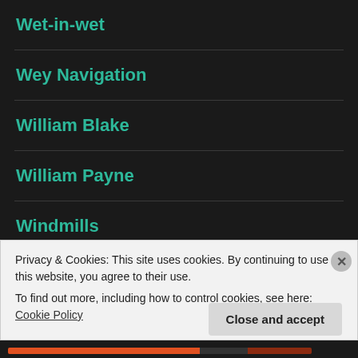Wet-in-wet
Wey Navigation
William Blake
William Payne
Windmills
Winter Street Scene
Privacy & Cookies: This site uses cookies. By continuing to use this website, you agree to their use.
To find out more, including how to control cookies, see here: Cookie Policy
Close and accept